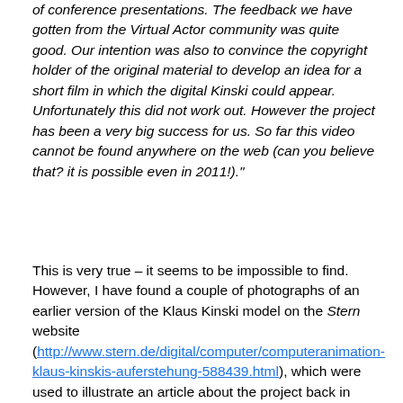of conference presentations. The feedback we have gotten from the Virtual Actor community was quite good. Our intention was also to convince the copyright holder of the original material to develop an idea for a short film in which the digital Kinski could appear. Unfortunately this did not work out. However the project has been a very big success for us. So far this video cannot be found anywhere on the web (can you believe that? it is possible even in 2011!)."
This is very true – it seems to be impossible to find. However, I have found a couple of photographs of an earlier version of the Klaus Kinski model on the Stern website (http://www.stern.de/digital/computer/computeranimation-klaus-kinskis-auferstehung-588439.html), which were used to illustrate an article about the project back in May